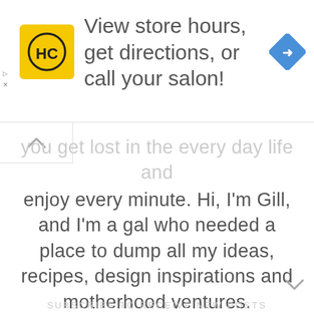[Figure (infographic): Advertisement banner with HC logo (yellow square with HC letters) and text 'View store hours, get directions, or call your salon!' with a blue diamond navigation icon on the right.]
you get lost in the every day life and enjoy every minute. Hi, I'm Gill, and I'm a gal who needed a place to dump all my ideas, recipes, design inspirations and motherhood ventures.
See More About Me
SUBSCRIBE TO RECEIVE NEW POSTS